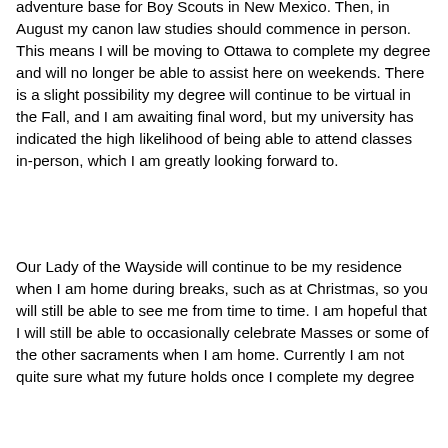adventure base for Boy Scouts in New Mexico.  Then, in August my canon law studies should commence in person.  This means I will be moving to Ottawa to complete my degree and will no longer be able to assist here on weekends.  There is a slight possibility my degree will continue to be virtual in the Fall, and I am awaiting final word, but my university has indicated the high likelihood of being able to attend classes in-person, which I am greatly looking forward to.
Our Lady of the Wayside will continue to be my residence when I am home during breaks, such as at Christmas, so you will still be able to see me from time to time.  I am hopeful that I will still be able to occasionally celebrate Masses or some of the other sacraments when I am home.  Currently I am not quite sure what my future holds once I complete my degree